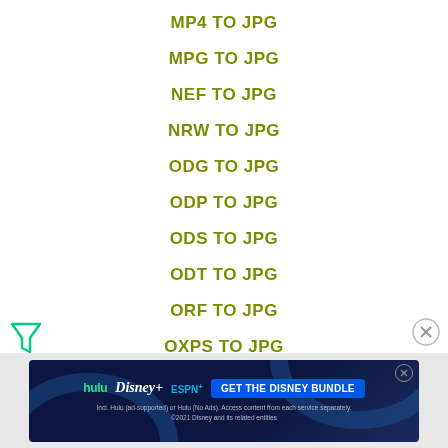MP4 TO JPG
MPG TO JPG
NEF TO JPG
NRW TO JPG
ODG TO JPG
ODP TO JPG
ODS TO JPG
ODT TO JPG
ORF TO JPG
OXPS TO JPG
[Figure (other): Advertisement banner for Disney Bundle featuring Hulu, Disney+, and ESPN+ logos with 'GET THE DISNEY BUNDLE' call to action button]